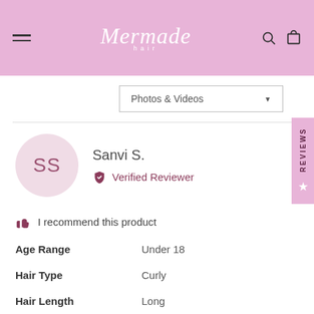Mermade Hair — navigation header with hamburger menu, logo, search and cart icons
Photos & Videos
SS — Sanvi S. — Verified Reviewer
I recommend this product
| Attribute | Value |
| --- | --- |
| Age Range | Under 18 |
| Hair Type | Curly |
| Hair Length | Long |
| Hair Colour | Black |